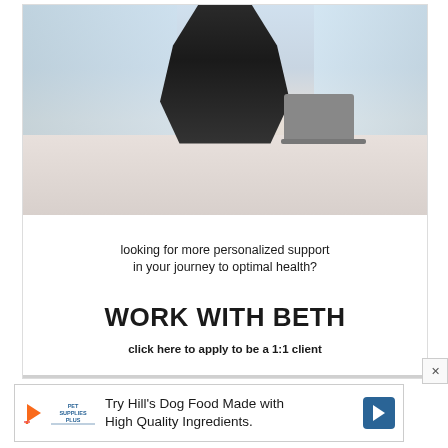[Figure (photo): Woman with dark hair and tattoos sitting at a desk with a laptop, smiling at the camera. She is wearing a black and white striped top.]
looking for more personalized support in your journey to optimal health?
WORK WITH BETH
click here to apply to be a 1:1 client
[Figure (infographic): Advertisement banner: Try Hill's Dog Food Made with High Quality Ingredients. Shows Pet Supplies Plus logo, play button icon, and navigation arrow icon.]